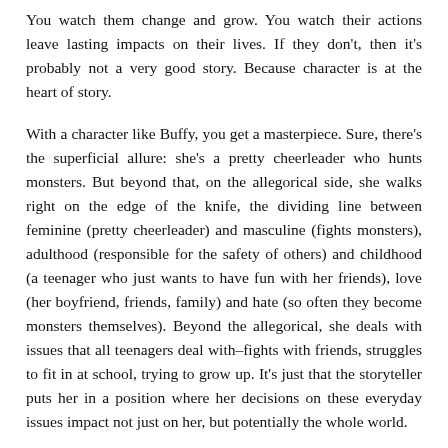You watch them change and grow. You watch their actions leave lasting impacts on their lives. If they don't, then it's probably not a very good story. Because character is at the heart of story.
With a character like Buffy, you get a masterpiece. Sure, there's the superficial allure: she's a pretty cheerleader who hunts monsters. But beyond that, on the allegorical side, she walks right on the edge of the knife, the dividing line between feminine (pretty cheerleader) and masculine (fights monsters), adulthood (responsible for the safety of others) and childhood (a teenager who just wants to have fun with her friends), love (her boyfriend, friends, family) and hate (so often they become monsters themselves). Beyond the allegorical, she deals with issues that all teenagers deal with–fights with friends, struggles to fit in at school, trying to grow up. It's just that the storyteller puts her in a position where her decisions on these everyday issues impact not just on her, but potentially the whole world.
If this was it, if allegory was all there was to this character, she still wouldn't succeed–she still wouldn't resonate with readers (and neither would similar characters, like Harry Potter). She needs to have